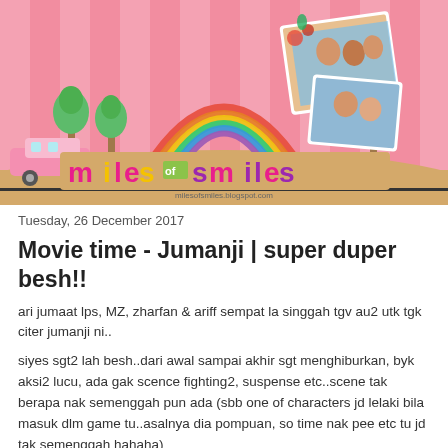[Figure (illustration): Miles of Smiles blog banner with pink striped background, rainbow, cartoon trees, a family photo collage, a pink caravan, and colorful 'miles of smiles' logo text]
Tuesday, 26 December 2017
Movie time - Jumanji | super duper besh!!
ari jumaat lps, MZ, zharfan & ariff sempat la singgah tgv au2 utk tgk citer jumanji ni..
siyes sgt2 lah besh..dari awal sampai akhir sgt menghiburkan, byk aksi2 lucu, ada gak scence fighting2, suspense etc..scene tak berapa nak semenggah pun ada (sbb one of characters jd lelaki bila masuk dlm game tu..asalnya dia pompuan, so time nak pee etc tu jd tak semenggah hahaha)